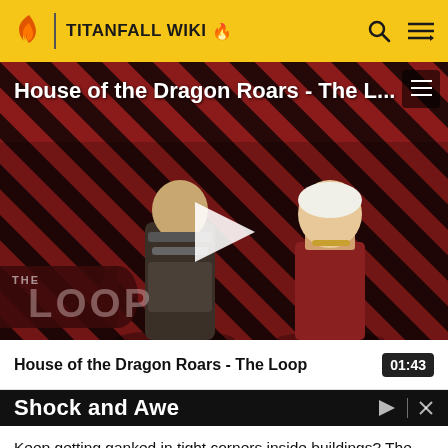TITANFALL WIKI
[Figure (screenshot): Video thumbnail for 'House of the Dragon Roars - The L...' showing two characters from House of the Dragon in front of a diagonal red/black striped background with a play button overlay and 'THE LOOP' branding in lower left]
House of the Dragon Roars - The Loop
01:43
Shock and Awe
Keep getting ganked in tight corners inside buildings? The easiest way to deal with that is to make a ton of noise.